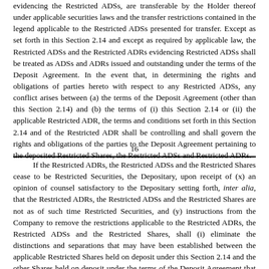evidencing the Restricted ADSs, are transferable by the Holder thereof under applicable securities laws and the transfer restrictions contained in the legend applicable to the Restricted ADSs presented for transfer. Except as set forth in this Section 2.14 and except as required by applicable law, the Restricted ADSs and the Restricted ADRs evidencing Restricted ADSs shall be treated as ADSs and ADRs issued and outstanding under the terms of the Deposit Agreement. In the event that, in determining the rights and obligations of parties hereto with respect to any Restricted ADSs, any conflict arises between (a) the terms of the Deposit Agreement (other than this Section 2.14) and (b) the terms of (i) this Section 2.14 or (ii) the applicable Restricted ADR, the terms and conditions set forth in this Section 2.14 and of the Restricted ADR shall be controlling and shall govern the rights and obligations of the parties to the Deposit Agreement pertaining to the deposited Restricted Shares, the Restricted ADSs and Restricted ADRs.
16
If the Restricted ADRs, the Restricted ADSs and the Restricted Shares cease to be Restricted Securities, the Depositary, upon receipt of (x) an opinion of counsel satisfactory to the Depositary setting forth, inter alia, that the Restricted ADRs, the Restricted ADSs and the Restricted Shares are not as of such time Restricted Securities, and (y) instructions from the Company to remove the restrictions applicable to the Restricted ADRs, the Restricted ADSs and the Restricted Shares, shall (i) eliminate the distinctions and separations that may have been established between the applicable Restricted Shares held on deposit under this Section 2.14 and the other Shares held on deposit under the terms of the Deposit Agreement that are not Restricted Shares, (ii) treat the